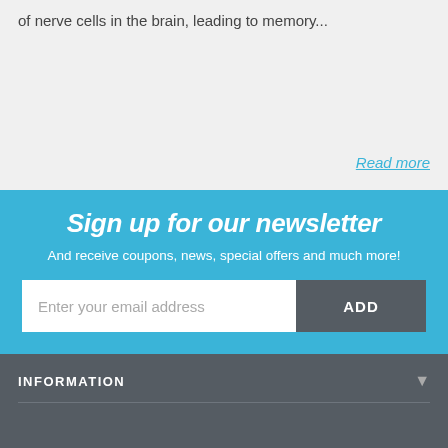of nerve cells in the brain, leading to memory...
Read more
Sign up for our newsletter
And receive coupons, news, special offers and much more!
Enter your email address
ADD
INFORMATION
ADD TO CART